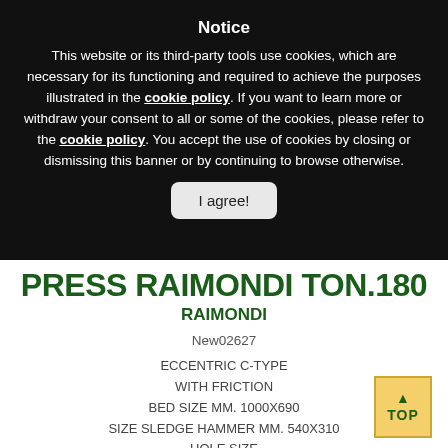Notice
This website or its third-party tools use cookies, which are necessary for its functioning and required to achieve the purposes illustrated in the cookie policy. If you want to learn more or withdraw your consent to all or some of the cookies, please refer to the cookie policy. You accept the use of cookies by closing or dismissing this banner or by continuing to browse otherwise.
I agree!
PRESS RAIMONDI TON.180
RAIMONDI
New02627
ECCENTRIC C-TYPE
WITH FRICTION
BED SIZE MM. 1000X690
SIZE SLEDGE HAMMER MM. 540X310
HOLE SIZE